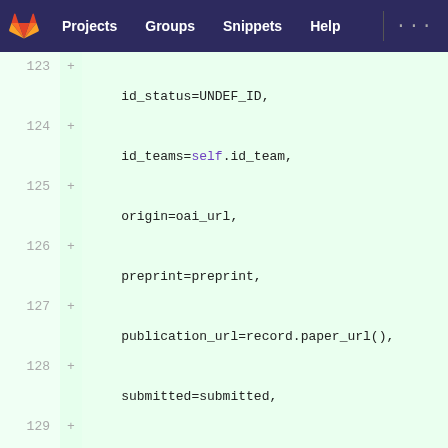GitLab navigation: Projects | Groups | Snippets | Help
[Figure (screenshot): GitLab code diff view showing lines 123-133 of a Python file with added lines (marked with +). Code shows keyword arguments: id_status=UNDEF_ID, id_teams=self.id_team, origin=oai_url, preprint=preprint, publication_url=record.paper_url(), submitted=submitted, title=title, year=year) followed by if ret == 1: and self.logs[-1].load(MSG_LOAD, year)]